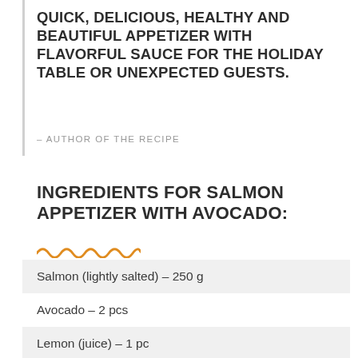QUICK, DELICIOUS, HEALTHY AND BEAUTIFUL APPETIZER WITH FLAVORFUL SAUCE FOR THE HOLIDAY TABLE OR UNEXPECTED GUESTS.
– AUTHOR OF THE RECIPE
INGREDIENTS FOR SALMON APPETIZER WITH AVOCADO:
Salmon (lightly salted) – 250 g
Avocado – 2 pcs
Lemon (juice) – 1 pc
Tarragon – 3 sprigs.